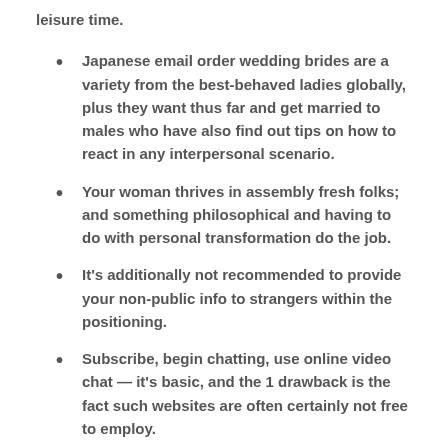leisure time.
Japanese email order wedding brides are a variety from the best-behaved ladies globally, plus they want thus far and get married to males who have also find out tips on how to react in any interpersonal scenario.
Your woman thrives in assembly fresh folks; and something philosophical and having to do with personal transformation do the job.
It's additionally not recommended to provide your non-public info to strangers within the positioning.
Subscribe, begin chatting, use online video chat — it's basic, and the 1 drawback is the fact such websites are often certainly not free to employ.